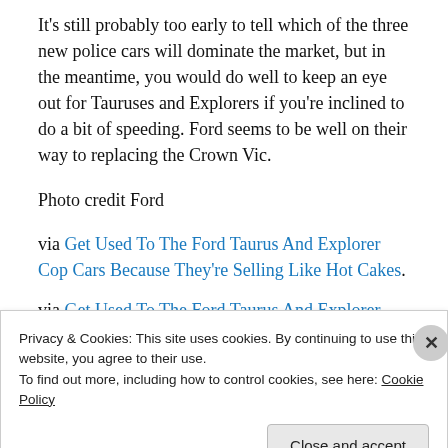It's still probably too early to tell which of the three new police cars will dominate the market, but in the meantime, you would do well to keep an eye out for Tauruses and Explorers if you're inclined to do a bit of speeding. Ford seems to be well on their way to replacing the Crown Vic.
Photo credit Ford
via Get Used To The Ford Taurus And Explorer Cop Cars Because They're Selling Like Hot Cakes.
via Get Used To The Ford Taurus And Explorer Cop Cars
Privacy & Cookies: This site uses cookies. By continuing to use this website, you agree to their use.
To find out more, including how to control cookies, see here: Cookie Policy
Close and accept